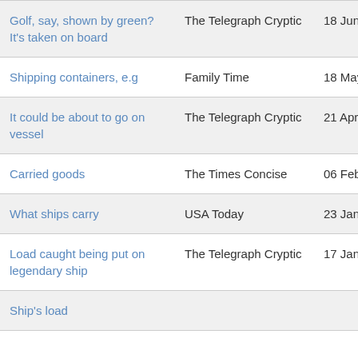| Golf, say, shown by green? It's taken on board | The Telegraph Cryptic | 18 Jun 2015 |
| Shipping containers, e.g | Family Time | 18 May 2015 |
| It could be about to go on vessel | The Telegraph Cryptic | 21 Apr 2015 |
| Carried goods | The Times Concise | 06 Feb 2015 |
| What ships carry | USA Today | 23 Jan 2015 |
| Load caught being put on legendary ship | The Telegraph Cryptic | 17 Jan 2015 |
| Ship's load |  |  |